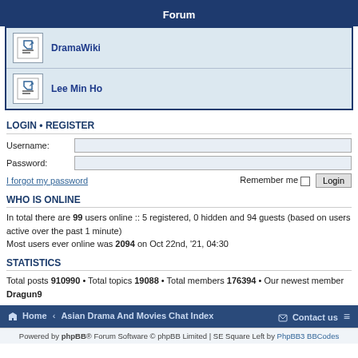Forum
DramaWiki
Lee Min Ho
LOGIN • REGISTER
Username:
Password:
I forgot my password
Remember me  Login
WHO IS ONLINE
In total there are 99 users online :: 5 registered, 0 hidden and 94 guests (based on users active over the past 1 minute)
Most users ever online was 2094 on Oct 22nd, '21, 04:30
STATISTICS
Total posts 910990 • Total topics 19088 • Total members 176394 • Our newest member Dragun9
Home · Asian Drama And Movies Chat Index  Contact us
Powered by phpBB® Forum Software © phpBB Limited | SE Square Left by PhpBB3 BBCodes